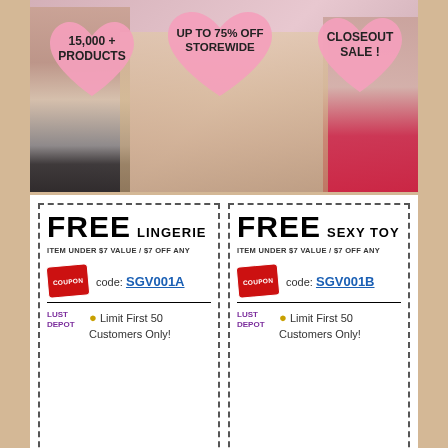[Figure (infographic): Banner advertisement with three heart-shaped badges over product figures. Left heart: '15,000 + PRODUCTS'. Center heart: 'UP TO 75% OFF STOREWIDE'. Right heart: 'CLOSEOUT SALE !']
FREE LINGERIE
ITEM UNDER $7 VALUE / $7 OFF ANY
code: SGV001A
LUST DEPOT
Limit First 50 Customers Only!
FREE SEXY TOY
ITEM UNDER $7 VALUE / $7 OFF ANY
code: SGV001B
LUST DEPOT
Limit First 50 Customers Only!
[Figure (illustration): 3D rendered illustration of a woman in a lavender/purple dress with a speech bubble at the bottom reading: 'ALSO MRS MCEROY, YOU HAVE TO UNDERSTAND THE TALKING DURING THE SEX IS EXTREMELY IMPORTANT TOO. ESPECIALLY FOR A SUBMISSIVE WOMAN!']